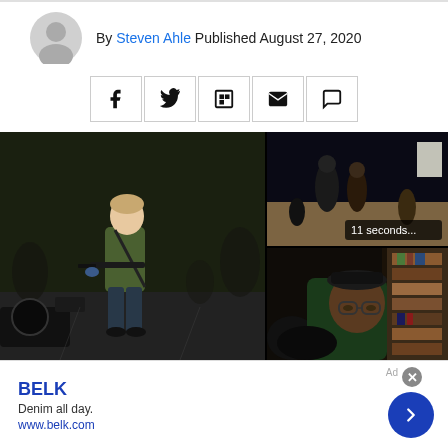By Steven Ahle Published August 27, 2020
[Figure (other): Share bar with Facebook, Twitter, Flipboard, Email, and Comment icons]
[Figure (photo): Left: Young man in green shirt carrying a rifle at a nighttime street event. Right top: Nighttime street scene with people, text overlay '11 seconds...'. Right bottom: Man with glasses and hat sitting in front of a bookshelf.]
BELK
Denim all day.
www.belk.com